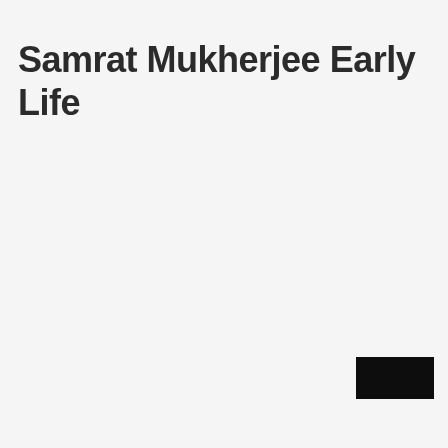Samrat Mukherjee Early Life
[Figure (other): Small black rectangle in the lower right area of the page]